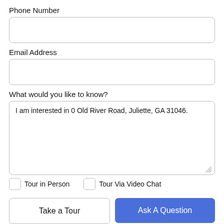Phone Number
Email Address
What would you like to know?
I am interested in 0 Old River Road, Juliette, GA 31046.
Tour in Person
Tour Via Video Chat
Take a Tour
Ask A Question